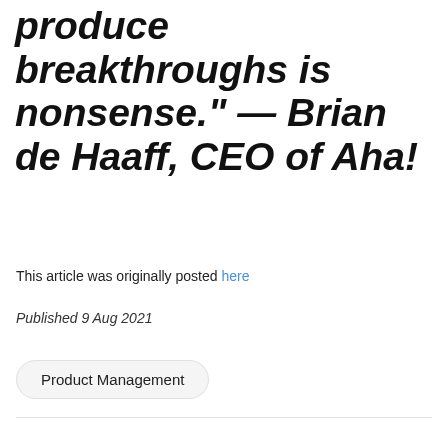produce breakthroughs is nonsense." — Brian de Haaff, CEO of Aha!
This article was originally posted here
Published 9 Aug 2021
Product Management